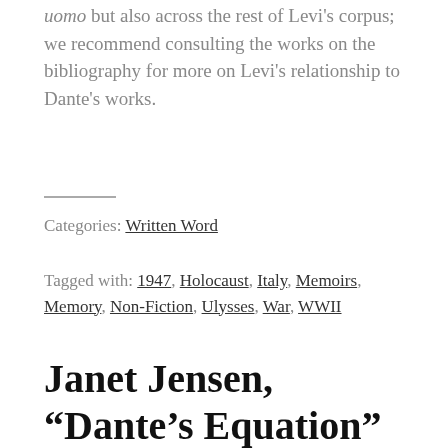uomo but also across the rest of Levi's corpus; we recommend consulting the works on the bibliography for more on Levi's relationship to Dante's works.
Categories: Written Word
Tagged with: 1947, Holocaust, Italy, Memoirs, Memory, Non-Fiction, Ulysses, War, WWII
Janet Jensen, “Dante’s Equation” (2006)
September 15, 2006 By Professor Arielle Saiber